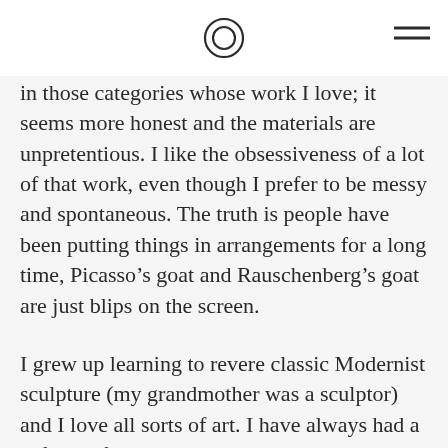[logo circle icon] [hamburger menu icon]
in those categories whose work I love; it seems more honest and the materials are unpretentious. I like the obsessiveness of a lot of that work, even though I prefer to be messy and spontaneous. The truth is people have been putting things in arrangements for a long time, Picasso’s goat and Rauschenberg’s goat are just blips on the screen.
I grew up learning to revere classic Modernist sculpture (my grandmother was a sculptor) and I love all sorts of art. I have always had a soft spot for a certain